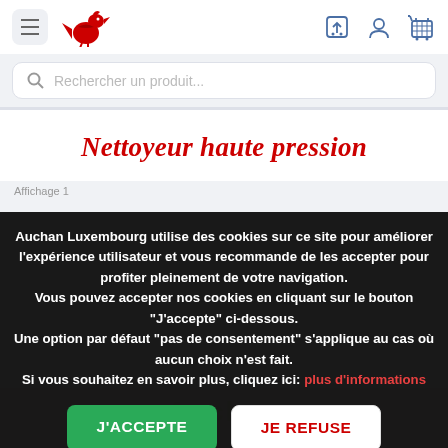[Figure (screenshot): Auchan Luxembourg website header with hamburger menu, red bird logo, search bar, and navigation icons]
Nettoyeur haute pression
Auchan Luxembourg utilise des cookies sur ce site pour améliorer l'expérience utilisateur et vous recommande de les accepter pour profiter pleinement de votre navigation.
Vous pouvez accepter nos cookies en cliquant sur le bouton "J'accepte" ci-dessous.
Une option par défaut "pas de consentement" s'applique au cas où aucun choix n'est fait.
Si vous souhaitez en savoir plus, cliquez ici: plus d'informations
J'ACCEPTE
JE REFUSE